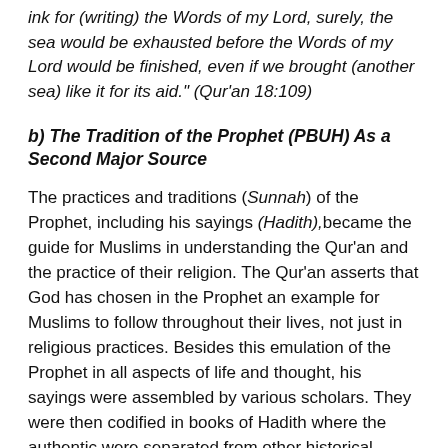ink for (writing) the Words of my Lord, surely, the sea would be exhausted before the Words of my Lord would be finished, even if we brought (another sea) like it for its aid." (Qur'an 18:109)
b) The Tradition of the Prophet (PBUH) As a Second Major Source
The practices and traditions (Sunnah) of the Prophet, including his sayings (Hadith),became the guide for Muslims in understanding the Qur'an and the practice of their religion. The Qur'an asserts that God has chosen in the Prophet an example for Muslims to follow throughout their lives, not just in religious practices. Besides this emulation of the Prophet in all aspects of life and thought, his sayings were assembled by various scholars. They were then codified in books of Hadith where the authentic were separated from other historical material. The